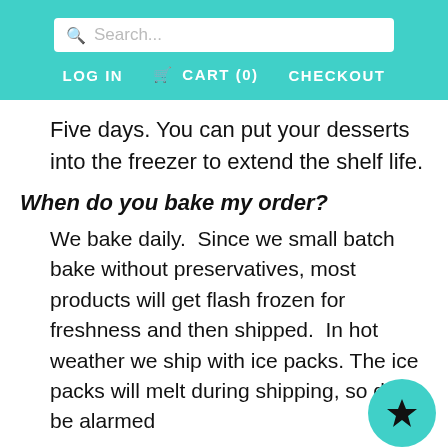Search...  LOG IN  CART (0)  CHECKOUT
Five days. You can put your desserts into the freezer to extend the shelf life.
When do you bake my order?
We bake daily.  Since we small batch bake without preservatives, most products will get flash frozen for freshness and then shipped.  In hot weather we ship with ice packs. The ice packs will melt during shipping, so don't be alarmed